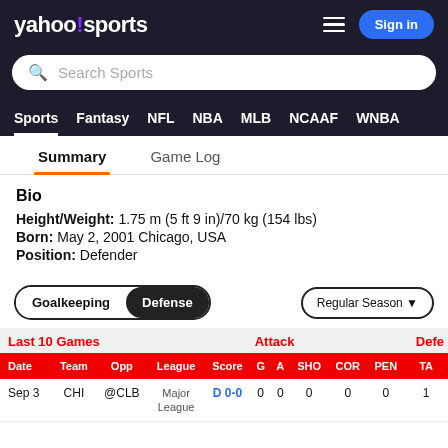yahoo!sports
Search Sports
Sports | Fantasy | NFL | NBA | MLB | NCAAF | WNBA
Summary | Game Log
Bio
Height/Weight: 1.75 m (5 ft 9 in)/70 kg (154 lbs)
Born: May 2, 2001 Chicago, USA
Position: Defender
Goalkeeping | Defense | Regular Season
| Date | Team | Opp | League | Score | G | A | SHO | COR | PEN | TA |
| --- | --- | --- | --- | --- | --- | --- | --- | --- | --- | --- |
| Sep 3 | CHI | @CLB | Major League | D 0-0 | 0 | 0 | 0 | 0 | 0 | 1 |